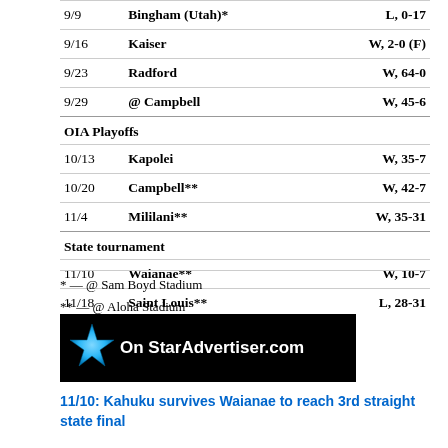| Date | Opponent | Result |
| --- | --- | --- |
| 9/9 | Bingham (Utah)* | L, 0-17 |
| 9/16 | Kaiser | W, 2-0 (F) |
| 9/23 | Radford | W, 64-0 |
| 9/29 | @ Campbell | W, 45-6 |
| OIA Playoffs |  |  |
| 10/13 | Kapolei | W, 35-7 |
| 10/20 | Campbell** | W, 42-7 |
| 11/4 | Mililani** | W, 35-31 |
| State tournament |  |  |
| 11/10 | Waianae** | W, 10-7 |
| 11/18 | Saint Louis** | L, 28-31 |
* — @ Sam Boyd Stadium
** — @ Aloha Stadium
[Figure (logo): On StarAdvertiser.com banner with blue star logo on black background]
11/10: Kahuku survives Waianae to reach 3rd straight state final